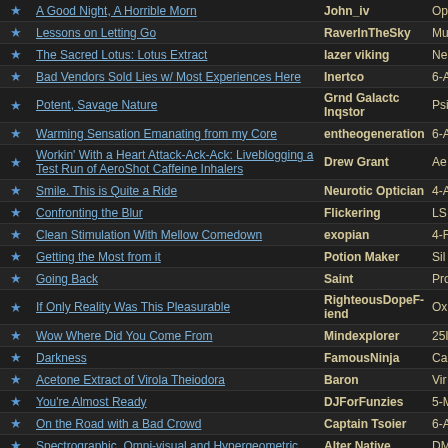|  | Title | Author | Extra |
| --- | --- | --- | --- |
| ★ | A Good Night, A Horrible Morn | John_iv | Op |
| ★ | Lessons on Letting Go | RaverInTheSky | Mu |
| ★ | The Sacred Lotus: Lotus Extract | lazer viking | Ne & A |
| ★ | Bad Vendors Sold Lies w/ Most Experiences Here | Inertco | 6-A |
| ★ | Potent, Savage Nature | Grnd Galactc Inqstor | Psi |
| ★ | Warming Sensation Emanating from my Core | entheogeneration | 6-A |
| ★ | Workin' With a Heart Attack-Ack-Ack: Liveblogging a Test Run of AeroShot Caffeine Inhalers | Drew Grant | Ae Inh |
| ★ | Smile. This is Quite a Ride | Neurotic Optician | 4-A |
| ★ | Confronting the Blur | Flickering | LS |
| ★ | Clean Stimulation With Mellow Comedown | exopian | 4-F |
| ★ | Getting the Most from it | Potion Maker | Sil |
| ★ | Going Back | Saint | Pro |
| ★ | If Only Reality Was This Pleasurable | RighteousDopeFiend | Ox |
| ★ | Wow Where Did You Come From | Mindexplorer | 25I |
| ★ | Darkness | FamousNinja | Ca |
| ★ | Acetone Extract of Virola Theiodora | Baron | Vir |
| ★ | You're Almost Ready | DJForFunzies | 5-M |
| ★ | On the Road with a Bad Crowd | Captain Tsoier | 6-A |
| ★ | Spectrographic, Omni-visual and Hypergeometric | Alter Native | DM |
| ★ | Little Bit Goes a Long Way | Bunn | Bu |
| ★ | Infinite Nothingness | Existence | Am |